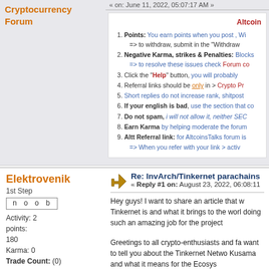Cryptocurrency Forum
« on: June 11, 2022, 05:07:17 AM »
Altcoin
1. Points: You earn points when you post, Wi => to withdraw, submit in the "Withdraw
2. Negative Karma, strikes & Penalties: Blocks => to resolve these issues check Forum co
3. Click the "Help" button, you will probably
4. Referral links should be only in > Crypto Pr
5. Short replies do not increase rank, shitpost
6. If your english is bad, use the section that co
7. Do not spam, i will not allow it, neither SEC
8. Earn Karma by helping moderate the forum
9. Altt Referral link: for AltcoinsTalks forum is => When you refer with your link > activ
Elektrovenik
1st Step
noob
Activity: 2
points:
180
Karma: 0
Trade Count: (0)
Referrals: 0
Last Active: August 23, 2022, 06:07:58 AM
Re: InvArch/Tinkernet parachains
« Reply #1 on: August 23, 2022, 06:08:11
Hey guys! I want to share an article that w Tinkernet is and what it brings to the worl doing such an amazing job for the project
Greetings to all crypto-enthusiasts and fa want to tell you about the Tinkernet Netwo Kusama and what it means for the Ecosys